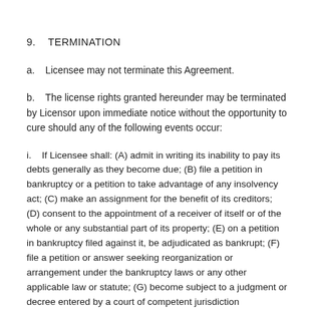9.   TERMINATION
a.   Licensee may not terminate this Agreement.
b.   The license rights granted hereunder may be terminated by Licensor upon immediate notice without the opportunity to cure should any of the following events occur:
i.   If Licensee shall: (A) admit in writing its inability to pay its debts generally as they become due; (B) file a petition in bankruptcy or a petition to take advantage of any insolvency act; (C) make an assignment for the benefit of its creditors; (D) consent to the appointment of a receiver of itself or of the whole or any substantial part of its property; (E) on a petition in bankruptcy filed against it, be adjudicated as bankrupt; (F) file a petition or answer seeking reorganization or arrangement under the bankruptcy laws or any other applicable law or statute; (G) become subject to a judgment or decree entered by a court of competent jurisdiction